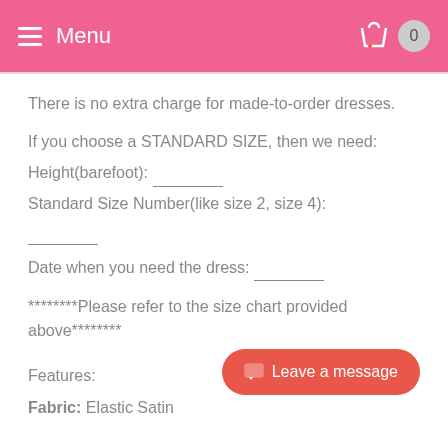Menu
There is no extra charge for made-to-order dresses.
If you choose a STANDARD SIZE, then we need:
Height(barefoot): ________
Standard Size Number(like size 2, size 4):
________
Date when you need the dress: ________
********Please refer to the size chart provided above********
Features:
Fabric: Elastic Satin